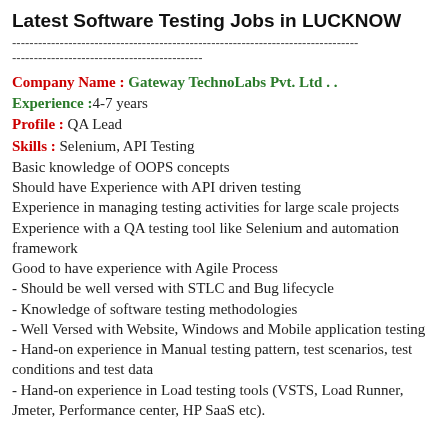Latest Software Testing Jobs in LUCKNOW
--------------------------------------------------------------------------------
--------------------------------------------
Company Name : Gateway TechnoLabs Pvt. Ltd . .
Experience :4-7 years
Profile : QA Lead
Skills : Selenium, API Testing
Basic knowledge of OOPS concepts
Should have Experience with API driven testing
Experience in managing testing activities for large scale projects
Experience with a QA testing tool like Selenium and automation framework
Good to have experience with Agile Process
- Should be well versed with STLC and Bug lifecycle
- Knowledge of software testing methodologies
- Well Versed with Website, Windows and Mobile application testing
- Hand-on experience in Manual testing pattern, test scenarios, test conditions and test data
- Hand-on experience in Load testing tools (VSTS, Load Runner, Jmeter, Performance center, HP SaaS etc).